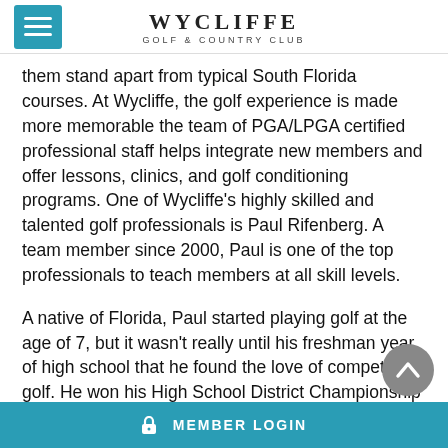WYCLIFFE GOLF & COUNTRY CLUB
them stand apart from typical South Florida courses. At Wycliffe, the golf experience is made more memorable the team of PGA/LPGA certified professional staff helps integrate new members and offer lessons, clinics, and golf conditioning programs. One of Wycliffe’s highly skilled and talented golf professionals is Paul Rifenberg. A team member since 2000, Paul is one of the top professionals to teach members at all skill levels.
A native of Florida, Paul started playing golf at the age of 7, but it wasn’t really until his freshman year of high school that he found the love of competitive golf. He won his High School District Championship during his senior year and continued his golfing career at Florida Atlantic University, playing #1 for the team for 2 years. After graduation, Rifenberg turned pro
MEMBER LOGIN